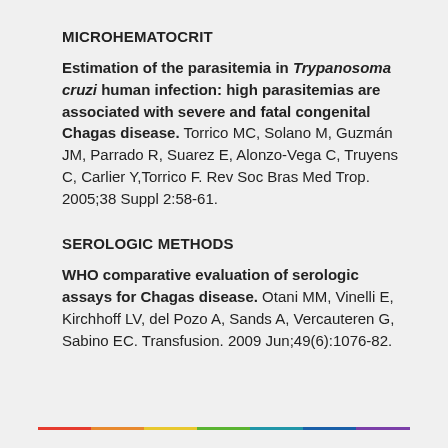MICROHEMATOCRIT
Estimation of the parasitemia in Trypanosoma cruzi human infection: high parasitemias are associated with severe and fatal congenital Chagas disease. Torrico MC, Solano M, Guzmán JM, Parrado R, Suarez E, Alonzo-Vega C, Truyens C, Carlier Y,Torrico F. Rev Soc Bras Med Trop. 2005;38 Suppl 2:58-61.
SEROLOGIC METHODS
WHO comparative evaluation of serologic assays for Chagas disease. Otani MM, Vinelli E, Kirchhoff LV, del Pozo A, Sands A, Vercauteren G, Sabino EC. Transfusion. 2009 Jun;49(6):1076-82.